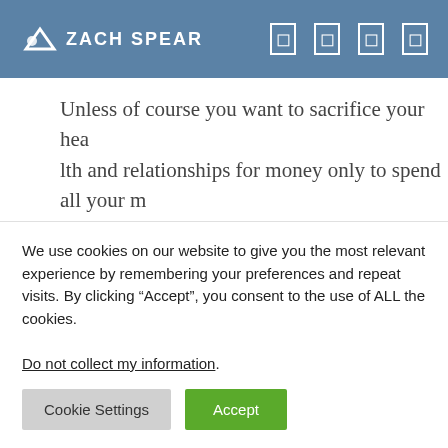ZACH SPEAR
Unless of course you want to sacrifice your health and relationships for money only to spend all your money getting your health back and hunting down new relationships...
Lesson in Online Marketing: Sell It First – So many people try to create these whiz bang funnels th...
We use cookies on our website to give you the most relevant experience by remembering your preferences and repeat visits. By clicking “Accept”, you consent to the use of ALL the cookies.
Do not collect my information.
Cookie Settings  Accept